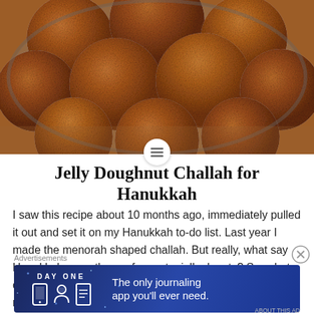[Figure (photo): Overhead photo of round golden-brown challah rolls in a circular pan, dusted with cinnamon sugar]
Jelly Doughnut Challah for Hanukkah
I saw this recipe about 10 months ago, immediately pulled it out and set it on my Hanukkah to-do list. Last year I made the menorah shaped challah. But really, what say Hanukkah more than sufganyot – jelly donuts? So, what could be more perfect than a jelly doughnut challah?! The recipe calls for
Advertisements
[Figure (screenshot): Day One journaling app advertisement banner with text: The only journaling app you'll ever need.]